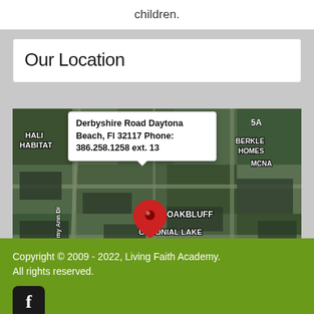children.
Our Location
[Figure (map): Satellite/aerial map of Daytona Beach FL area showing location pin at Derbyshire Road. Visible neighborhood labels include: Hali Habitat, Berkley Homes, McNa, Oakbluff, Colonial Lake, Lake Ellabelle, Coquina Lake, Derbyshire, Beverly Hills, Cardinal Estates, Jimmy Ann Dr. A popup tooltip reads: Derbyshire Road Daytona Beach, Fl 32117 Phone: 386.258.1258 ext. 13]
Copyright © 2009 - 2022, Living Faith Academy. All rights reserved.